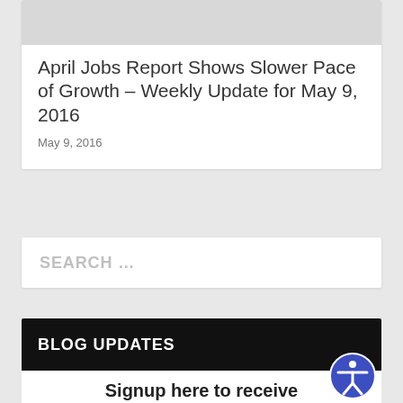[Figure (photo): Gray image placeholder at top of article card]
April Jobs Report Shows Slower Pace of Growth – Weekly Update for May 9, 2016
May 9, 2016
SEARCH …
BLOG UPDATES
Signup here to receive weekly updates from our